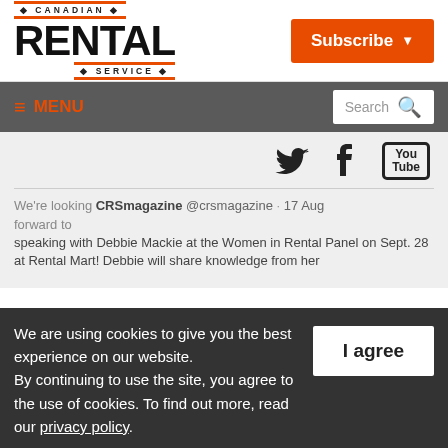[Figure (logo): Canadian Rental Service magazine logo in black with orange horizontal lines above and below 'CANADIAN' and 'SERVICE' text, 'RENTAL' in large bold font]
[Figure (logo): Subscribe button in orange with white text and dropdown arrow]
≡ MENU | Search
[Figure (infographic): Social media icons: Twitter bird, Facebook f, YouTube logo]
We're looking CRSmagazine @crsmagazine · 17 Aug forward to speaking with Debbie Mackie at the Women in Rental Panel on Sept. 28 at Rental Mart! Debbie will share knowledge from her
We are using cookies to give you the best experience on our website. By continuing to use the site, you agree to the use of cookies. To find out more, read our privacy policy.